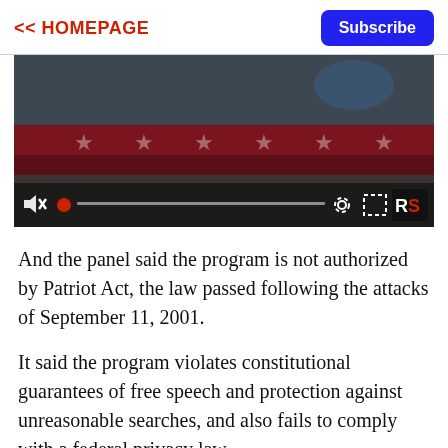<< HOMEPAGE | Subscribe
[Figure (screenshot): Video player showing an American flag background with playback controls: mute icon, red progress dot, progress bar, gear/settings icon, fullscreen icon, and RS logo badge]
And the panel said the program is not authorized by Patriot Act, the law passed following the attacks of September 11, 2001.
It said the program violates constitutional guarantees of free speech and protection against unreasonable searches, and also fails to comply with a federal privacy law.